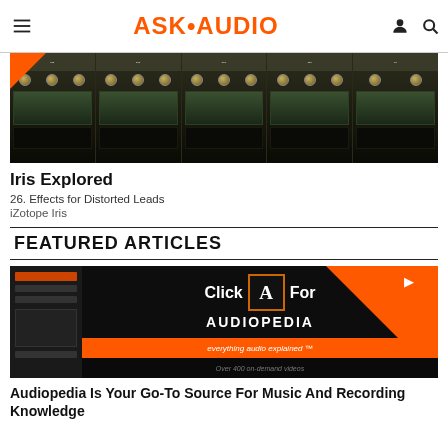ASK•AUDIO
[Figure (screenshot): Screenshot of iZotope Iris plugin interface showing multiple channels with knobs and controls]
Iris Explored
26. Effects for Distorted Leads
iZotope Iris
FEATURED ARTICLES
[Figure (screenshot): Screenshot showing AudioPedia promotional image with Click For AudioPedia text and logo, everything audio explained, over 400 on-demand videos]
Audiopedia Is Your Go-To Source For Music And Recording Knowledge